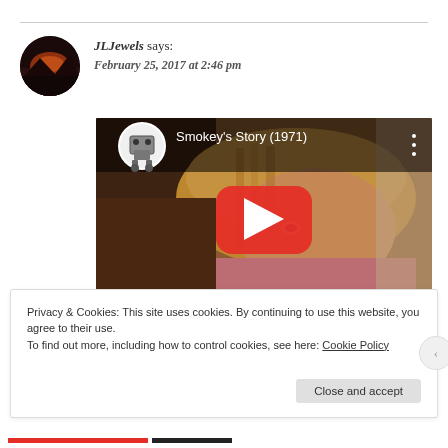JLJewels says: February 25, 2017 at 2:46 pm
[Figure (screenshot): YouTube video thumbnail for 'Smokey's Story (1971)' showing a young boy with long hair lying down, with the YouTube play button overlay and channel icon in the top left corner.]
Privacy & Cookies: This site uses cookies. By continuing to use this website, you agree to their use. To find out more, including how to control cookies, see here: Cookie Policy
Close and accept